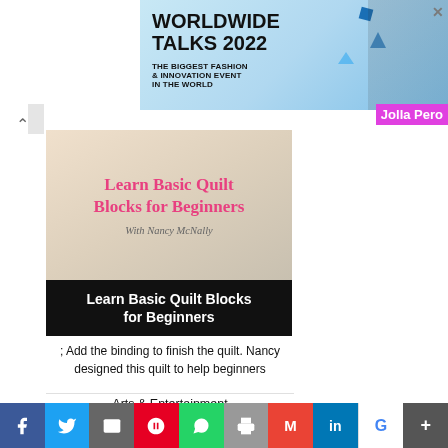[Figure (screenshot): Worldwide Talks 2022 advertisement banner - The biggest fashion & innovation event in the world]
[Figure (photo): Course thumbnail image for Learn Basic Quilt Blocks for Beginners with Nancy McNally]
Learn Basic Quilt Blocks for Beginners
; Add the binding to finish the quilt. Nancy designed this quilt to help beginners
Arts & Entertainment
Hobbies & Creative Arts
Arts & Crafts
Crafting Patterns & Molds
Sewing Patterns
[Figure (screenshot): Social media sharing bar with Facebook, Twitter, Email, Pinterest, WhatsApp, Print, Gmail, LinkedIn, Google, More buttons]